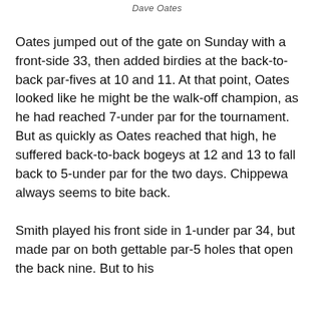Dave Oates
Oates jumped out of the gate on Sunday with a front-side 33, then added birdies at the back-to-back par-fives at 10 and 11. At that point, Oates looked like he might be the walk-off champion, as he had reached 7-under par for the tournament. But as quickly as Oates reached that high, he suffered back-to-back bogeys at 12 and 13 to fall back to 5-under par for the two days. Chippewa always seems to bite back.
Smith played his front side in 1-under par 34, but made par on both gettable par-5 holes that open the back nine. But to his